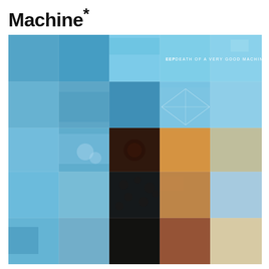Machine*
[Figure (photo): Album cover artwork for 'EEP - Death of a Very Good Machine'. A grid of photographic tiles in varying shades of blue, teal, orange, brown, black and cream. The grid is approximately 5 columns by 5 rows, with the upper portion dominated by blue tones (aerial and abstract photographs) transitioning to warmer oranges and browns in the lower rows, and dark/black tiles in the lower middle section. The text 'EEP DEATH OF A VERY GOOD MACHINE' appears in white in the upper-right area of the image.]